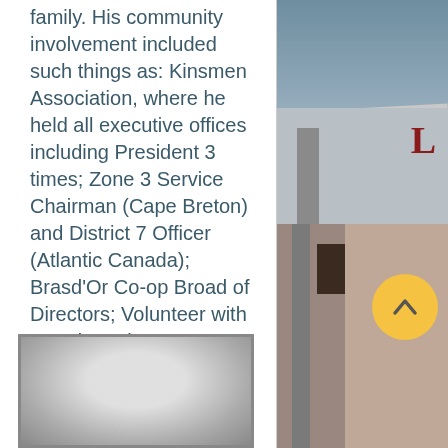family. His community involvement included such things as: Kinsmen Association, where he held all executive offices including President 3 times; Zone 3 Service Chairman (Cape Breton) and District 7 Officer (Atlantic Canada); Brasd'Or Co-op Broad of Directors; Volunteer with Brasd'Or Elementary School Programs, including basketball, hockey and of course, minor baseball. Married for over 20 years to his wife Joanne, Reg continues his commitment to make his community better.
[Figure (photo): Circular up-arrow navigation button (gold/yellow)]
[Figure (photo): Top right: photograph of a building exterior with partial red letter 'L' visible on signage, roof line and column post visible]
[Figure (photo): Bottom right: photograph of building exterior with concrete column post, dark doorway, and reddish/pink wall]
[Figure (photo): Bottom center: black and white portrait photograph (partially visible)]